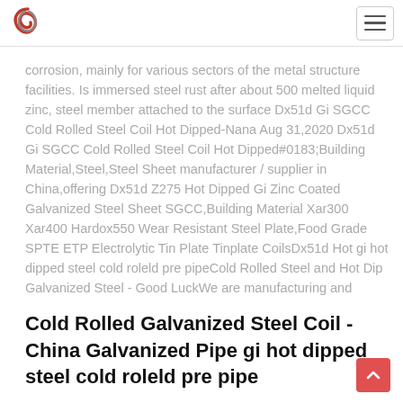[Logo] [Navigation hamburger menu]
corrosion, mainly for various sectors of the metal structure facilities. Is immersed steel rust after about 500 melted liquid zinc, steel member attached to the surface Dx51d Gi SGCC Cold Rolled Steel Coil Hot Dipped-Nana Aug 31,2020 Dx51d Gi SGCC Cold Rolled Steel Coil Hot Dipped#0183;Building Material,Steel,Steel Sheet manufacturer / supplier in China,offering Dx51d Z275 Hot Dipped Gi Zinc Coated Galvanized Steel Sheet SGCC,Building Material Xar300 Xar400 Hardox550 Wear Resistant Steel Plate,Food Grade SPTE ETP Electrolytic Tin Plate Tinplate CoilsDx51d Hot gi hot dipped steel cold roleld pre pipeCold Rolled Steel and Hot Dip Galvanized Steel - Good LuckWe are manufacturing and exporting steel products for automobile, cold rolled steel, hot dip galvanized steel, steel products for engineering industry, steel products
Cold Rolled Galvanized Steel Coil - China Galvanized Pipe gi hot dipped steel cold roleld pre pipe